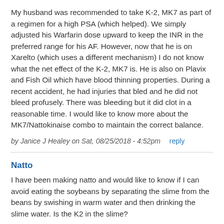My husband was recommended to take K-2, MK7 as part of a regimen for a high PSA (which helped). We simply adjusted his Warfarin dose upward to keep the INR in the preferred range for his AF. However, now that he is on Xarelto (which uses a different mechanism) I do not know what the net effect of the K-2, MK7 is. He is also on Plavix and Fish Oil which have blood thinning properties. During a recent accident, he had injuries that bled and he did not bleed profusely. There was bleeding but it did clot in a reasonable time. I would like to know more about the MK7/Nattokinaise combo to maintain the correct balance.
by Janice J Healey on Sat, 08/25/2018 - 4:52pm    reply
Natto
I have been making natto and would like to know if I can avoid eating the soybeans by separating the slime from the beans by swishing in warm water and then drinking the slime water. Is the K2 in the slime?
by Dwight Jessup on Mon, 11/12/2018 - 6:20pm    reply